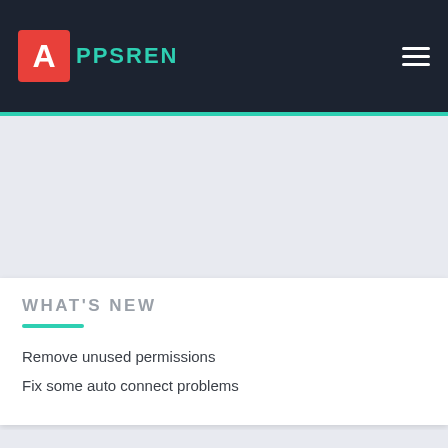APPSREN
WHAT'S NEW
Remove unused permissions
Fix some auto connect problems